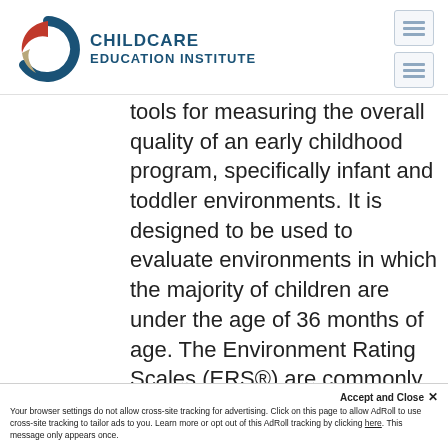[Figure (logo): ChildCare Education Institute logo with circular emblem in blue, red, and tan/gold, and bold blue text reading CHILDCARE EDUCATION INSTITUTE]
tools for measuring the overall quality of an early childhood program, specifically infant and toddler environments. It is designed to be used to evaluate environments in which the majority of children are under the age of 36 months of age. The Environment Rating Scales (ERS®) are commonly used by program monitors, researchers and early childhood educators.
Accept and Close ✕
Your browser settings do not allow cross-site tracking for advertising. Click on this page to allow AdRoll to use cross-site tracking to tailor ads to you. Learn more or opt out of this AdRoll tracking by clicking here. This message only appears once.